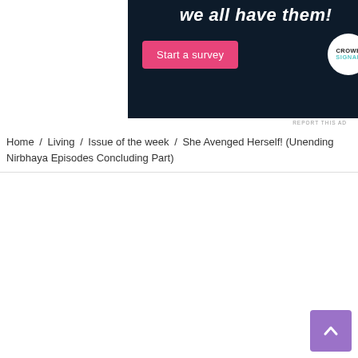[Figure (screenshot): Dark navy advertisement banner with white italic bold text 'we all have them!' at top, a pink 'Start a survey' button on the left, and a circular white Crowdsignal logo on the right.]
REPORT THIS AD
Home / Living / Issue of the week / She Avenged Herself! (Unending Nirbhaya Episodes Concluding Part)